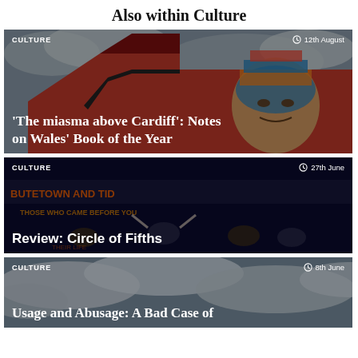Also within Culture
[Figure (photo): Colorful mural painting on the side of a building depicting a woman wearing an Egyptian-style headdress, set against a red background and cloudy sky]
CULTURE   12th August
'The miasma above Cardiff': Notes on Wales' Book of the Year
[Figure (photo): Theatre performance scene with performers on stage, colorful neon letters spelling out 'BUTETOWN AND TIDAL' and text 'THOSE WHO CAME BEFORE YOU']
CULTURE   27th June
Review: Circle of Fifths
[Figure (photo): Cloudy sky photograph, partially cropped, used as background for third article card]
CULTURE   8th June
Usage and Abusage: A Bad Case of